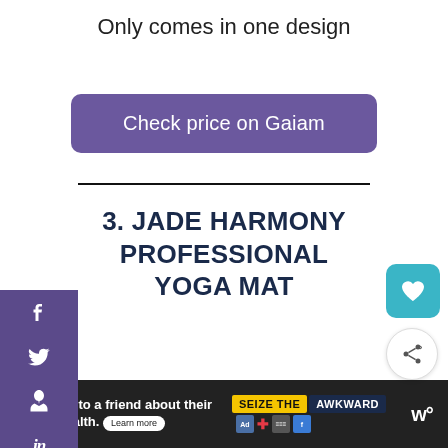Only comes in one design
Check price on Gaiam
3. JADE HARMONY PROFESSIONAL YOGA MAT
[Figure (screenshot): Social media share sidebar with Facebook, Twitter, Pinterest, LinkedIn icons on purple background]
[Figure (screenshot): Floating heart (teal) and share (white circle) action buttons on the right side]
[Figure (screenshot): Ad banner at bottom: 'Reach out to a friend about their mental health. Learn more' with SEIZE THE AWKWARD badge and logos]